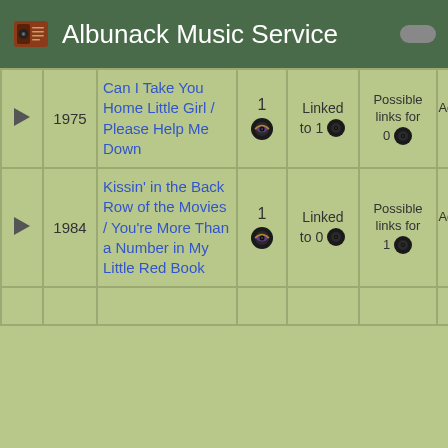Albunack Music Service
|  | Year | Title | Count | Linked | Possible links for | Additional |
| --- | --- | --- | --- | --- | --- | --- |
| ▶ | 1975 | Can I Take You Home Little Girl / Please Help Me Down | 1 | Linked to 1 | Possible links for 0 | Additional 0 |
| ▶ | 1984 | Kissin' in the Back Row of the Movies / You're More Than a Number in My Little Red Book | 1 | Linked to 0 | Possible links for 1 | Additional 0 |
|  |  |  |  |  |  | 1 |